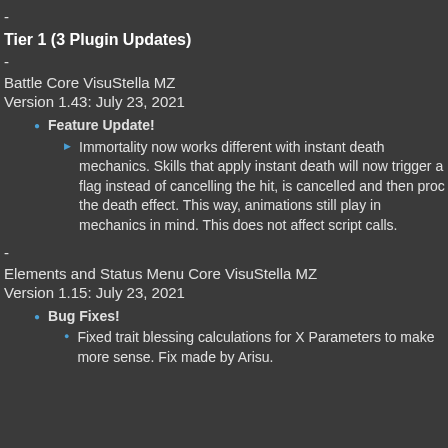-
Tier 1 (3 Plugin Updates)
-
Battle Core VisuStella MZ
Version 1.43: July 23, 2021
Feature Update!
Immortality now works different with instant death mechanics. Skills that apply instant death will now trigger a flag instead of cancelling the hit, is cancelled and then proc the death effect. This way, animations still play in mechanics in mind. This does not affect script calls.
-
Elements and Status Menu Core VisuStella MZ
Version 1.15: July 23, 2021
Bug Fixes!
Fixed trait blessing calculations for X Parameters to make more sense. Fix made by Arisu.